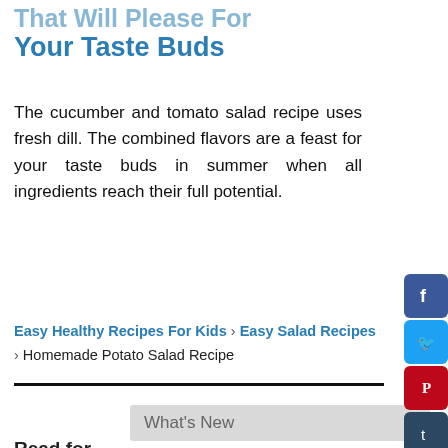Your Taste Buds
The cucumber and tomato salad recipe uses fresh dill. The combined flavors are a feast for your taste buds in summer when all ingredients reach their full potential.
Easy Healthy Recipes For Kids › Easy Salad Recipes › Homemade Potato Salad Recipe
What's New
Read for...